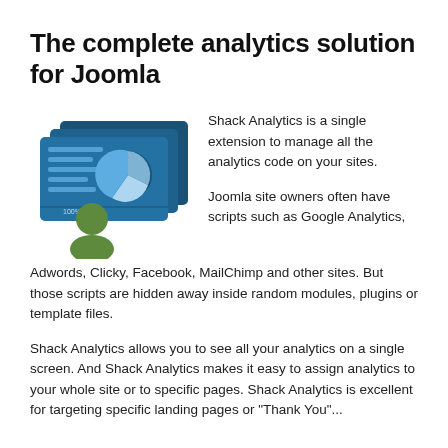The complete analytics solution for Joomla
[Figure (illustration): Illustration of a person (green silhouette) in front of blue dashboard/analytics cards showing a pie chart and data rows, with '100%' text on one card.]
Shack Analytics is a single extension to manage all the analytics code on your sites.
Joomla site owners often have scripts such as Google Analytics, Adwords, Clicky, Facebook, MailChimp and other sites. But those scripts are hidden away inside random modules, plugins or template files.
Shack Analytics allows you to see all your analytics on a single screen. And Shack Analytics makes it easy to assign analytics to your whole site or to specific pages. Shack Analytics is excellent for targeting specific landing pages or "Thank You"...